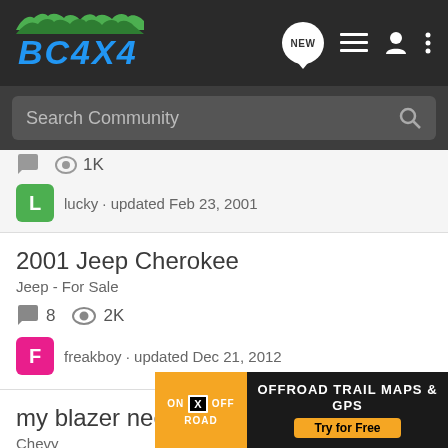BC4x4
lucky · updated Feb 23, 2001
2001 Jeep Cherokee
Jeep - For Sale
8 replies · 2K views · freakboy · updated Dec 21, 2012
my blazer needs to be bigger help
Chevy
7 replies · bo...
[Figure (other): ON X OFFROAD advertisement banner: Offroad Trail Maps & GPS, Try for Free]